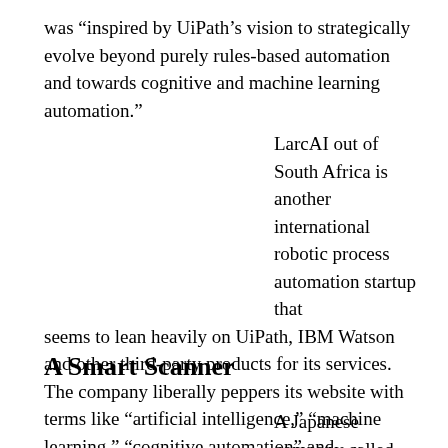was “inspired by UiPath’s vision to strategically evolve beyond purely rules-based automation and towards cognitive and machine learning automation.”
LarcAI out of South Africa is another international robotic process automation startup that seems to lean heavily on UiPath, IBM Watson and other third-party products for its services. The company liberally peppers its website with terms like “artificial intelligence,” “machine learning,” “cognitive automation” and “computer vision.” Again, we wonder what value LarcAI brings to the table, aside from a slightly tweaked English accent and some delicious biltong.
A Smart Scanner
A Japanese company called